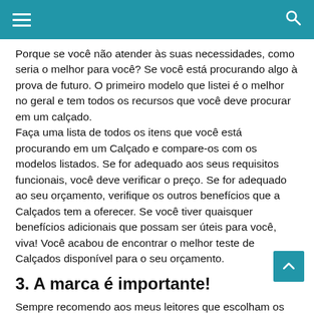☰  🔍
Porque se você não atender às suas necessidades, como seria o melhor para você? Se você está procurando algo à prova de futuro. O primeiro modelo que listei é o melhor no geral e tem todos os recursos que você deve procurar em um calçado.
Faça uma lista de todos os itens que você está procurando em um Calçado e compare-os com os modelos listados. Se for adequado aos seus requisitos funcionais, você deve verificar o preço. Se for adequado ao seu orçamento, verifique os outros benefícios que a Calçados tem a oferecer. Se você tiver quaisquer benefícios adicionais que possam ser úteis para você, viva! Você acabou de encontrar o melhor teste de Calçados disponível para o seu orçamento.
3. A marca é importante!
Sempre recomendo aos meus leitores que escolham os constituição federal 2019 que vêm de uma marca bem conhecida. Porque não será apenas excelente em termos